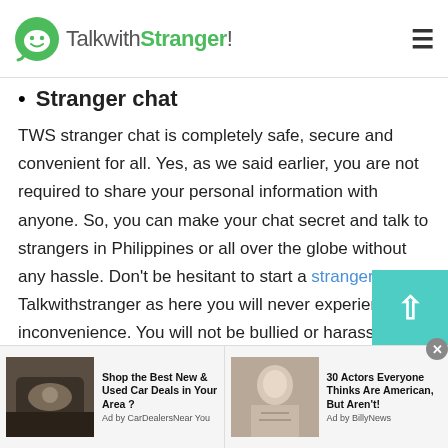TalkwithStranger!
Stranger chat
TWS stranger chat is completely safe, secure and convenient for all. Yes, as we said earlier, you are not required to share your personal information with anyone. So, you can make your chat secret and talk to strangers in Philippines or all over the globe without any hassle. Don't be hesitant to start a stranger chat at Talkwithstranger as here you will never experience inconvenience. You will not be bullied or harassed by anyone.
[Figure (screenshot): Ad banner: Shop the Best New & Used Car Deals in Your Area? Ad by CarDealersNearYou, and 30 Actors Everyone Thinks Are American, But Aren't! Ad by BilllyNews]